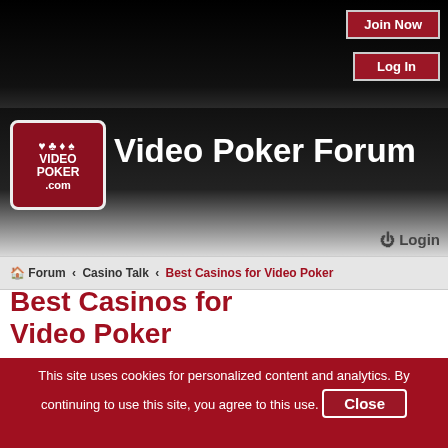Join Now | Log In
[Figure (logo): VideoPoker.com logo — red badge with card suits and VIDEO POKER .com text]
Video Poker Forum
Login
Forum › Casino Talk › Best Casinos for Video Poker
Best Casinos for Video Poker
New Topic ✎
422 topics  1  2  3  4  5  ›
Announcements
Forum rules: Please read before posting
This site uses cookies for personalized content and analytics. By continuing to use this site, you agree to this use.  Close